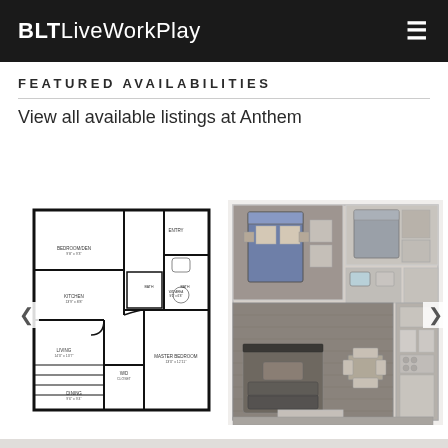BLT LiveWorkPlay
FEATURED AVAILABILITIES
View all available listings at Anthem
[Figure (schematic): Black and white architectural floor plan showing apartment layout with master bedroom, kitchen, living area, dining, bath, entry, and other rooms with dimensions labeled]
[Figure (illustration): 3D rendered top-down view of apartment floor plan showing furnished rooms including master bedroom with bed, living area, dining space, and secondary bedroom/bathroom in realistic colors]